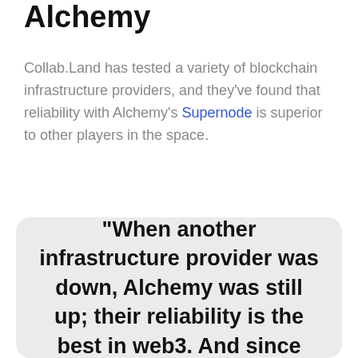Alchemy
Collab.Land has tested a variety of blockchain infrastructure providers, and they've found that reliability with Alchemy's Supernode is superior to other players in the space.
“When another infrastructure provider was down, Alchemy was still up; their reliability is the best in web3. And since